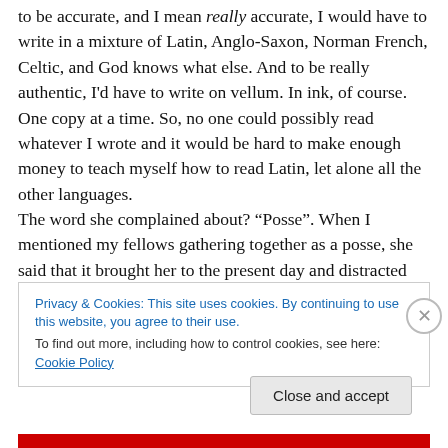to be accurate, and I mean really accurate, I would have to write in a mixture of Latin, Anglo-Saxon, Norman French, Celtic, and God knows what else. And to be really authentic, I'd have to write on vellum. In ink, of course. One copy at a time. So, no one could possibly read whatever I wrote and it would be hard to make enough money to teach myself how to read Latin, let alone all the other languages.
The word she complained about? “Posse”. When I mentioned my fellows gathering together as a posse, she said that it brought her to the present day and distracted
Privacy & Cookies: This site uses cookies. By continuing to use this website, you agree to their use.
To find out more, including how to control cookies, see here: Cookie Policy